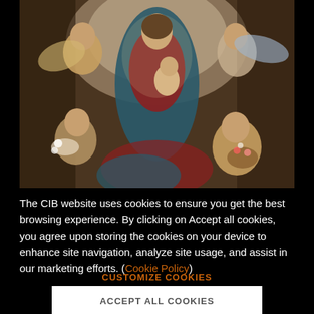[Figure (photo): Renaissance or Baroque oil painting depicting the Virgin Mary holding the Christ Child, surrounded by angels and cherubs offering flowers and garlands. The central figures are draped in red and blue, set against a cloud-lit background.]
The CIB website uses cookies to ensure you get the best browsing experience. By clicking on Accept all cookies, you agree upon storing the cookies on your device to enhance site navigation, analyze site usage, and assist in our marketing efforts. (Cookie Policy)
CUSTOMIZE COOKIES
ACCEPT ALL COOKIES